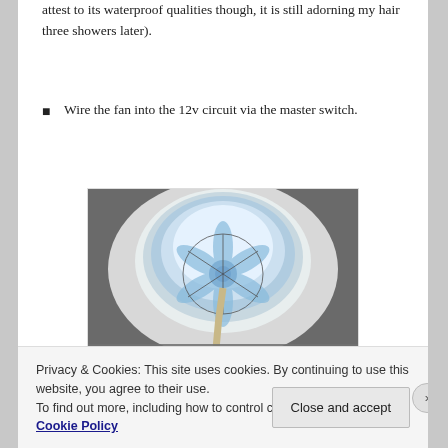attest to its waterproof qualities though, it is still adorning my hair three showers later).
Wire the fan into the 12v circuit via the master switch.
[Figure (photo): Photo of a ceiling fan mounted in a round skylight/hatch of a boat, viewed from below. The fan has translucent blue blades. A cable/hose runs down from the fan. Below the hatch is visible the boat interior.]
Privacy & Cookies: This site uses cookies. By continuing to use this website, you agree to their use.
To find out more, including how to control cookies, see here: Cookie Policy